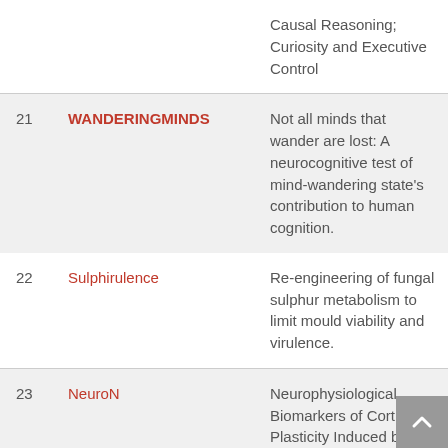| # | Name | Description |
| --- | --- | --- |
|  |  | Causal Reasoning; Curiosity and Executive Control |
| 21 | WANDERINGMINDS | Not all minds that wander are lost: A neurocognitive test of mind-wandering state's contribution to human cognition. |
| 22 | Sulphirulence | Re-engineering of fungal sulphur metabolism to limit mould viability and virulence. |
| 23 | NeuroN | Neurophysiological Biomarkers of Cortical Plasticity Induced by Neuromodulation |